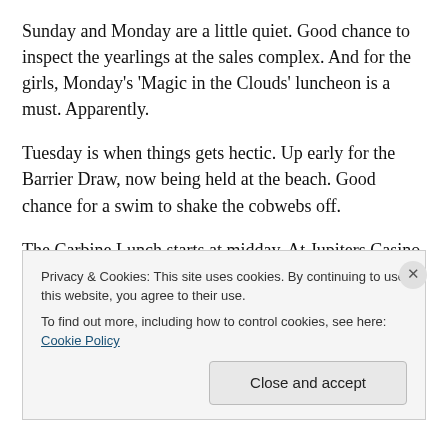Sunday and Monday are a little quiet. Good chance to inspect the yearlings at the sales complex. And for the girls, Monday's 'Magic in the Clouds' luncheon is a must. Apparently.
Tuesday is when things gets hectic. Up early for the Barrier Draw, now being held at the beach. Good chance for a swim to shake the cobwebs off.
The Carbine Lunch starts at midday. At Jupiters Casino, of all places. Pat Welsh hosting. Don't tell anyone, but he would actually pay them to do it.
Privacy & Cookies: This site uses cookies. By continuing to use this website, you agree to their use.
To find out more, including how to control cookies, see here: Cookie Policy